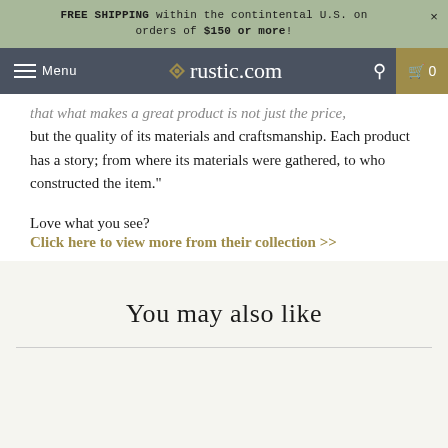FREE SHIPPING within the contintental U.S. on orders of $150 or more!
Menu | rustic.com | Search | Cart 0
that what makes a great product is not just the price, but the quality of its materials and craftsmanship. Each product has a story; from where its materials were gathered, to who constructed the item."
Love what you see?
Click here to view more from their collection >>
You may also like